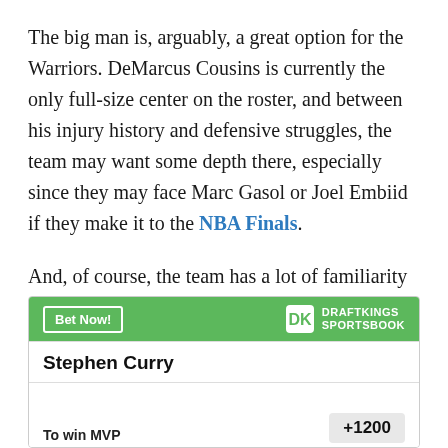The big man is, arguably, a great option for the Warriors. DeMarcus Cousins is currently the only full-size center on the roster, and between his injury history and defensive struggles, the team may want some depth there, especially since they may face Marc Gasol or Joel Embiid if they make it to the NBA Finals.
And, of course, the team has a lot of familiarity with Bogut, who played in 236 games with the franchise and was a key member of the first championship squad in 2015.
[Figure (other): DraftKings Sportsbook betting widget showing Stephen Curry 'To win MVP' odds of +1200, with a green header containing a 'Bet Now!' button and DraftKings Sportsbook logo.]